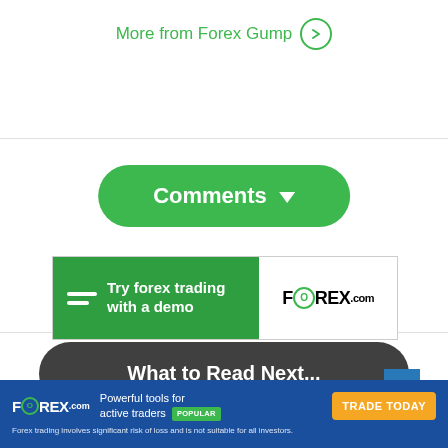More from Forex Gump
[Figure (other): Comments dropdown button with green pill shape and downward triangle]
[Figure (other): FOREX.com advertisement banner: 'Try forex trading with a demo']
[Figure (other): What to Read Next... dark pill button]
[Figure (other): FOREX.com bottom advertisement bar with 'Powerful tools for active traders POPULAR' tagline and TRADE TODAY button]
Forex trading involves significant risk of loss and is not suitable for all investors.